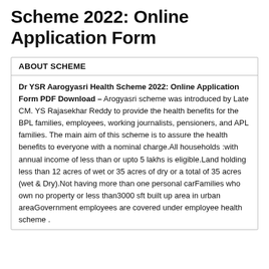Scheme 2022: Online Application Form
ABOUT SCHEME
Dr YSR Aarogyasri Health Scheme 2022: Online Application Form PDF Download – Arogyasri scheme was introduced by Late CM. YS Rajasekhar Reddy to provide the health benefits for the BPL families, employees, working journalists, pensioners, and APL families. The main aim of this scheme is to assure the health benefits to everyone with a nominal charge.All households :with annual income of less than or upto 5 lakhs is eligible.Land holding less than 12 acres of wet or 35 acres of dry or a total of 35 acres (wet & Dry).Not having more than one personal carFamilies who own no property or less than3000 sft built up area in urban areaGovernment employees are covered under employee health scheme .